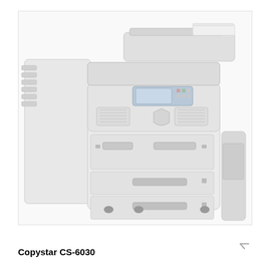[Figure (photo): Photograph of a Copystar CS-6030 multifunction printer/copier. The machine is large, white and grey, with a document feeder on top, a control panel with touchscreen display, and multiple paper trays at the bottom. A finisher/sorter unit is visible on the left side.]
Copystar CS-6030